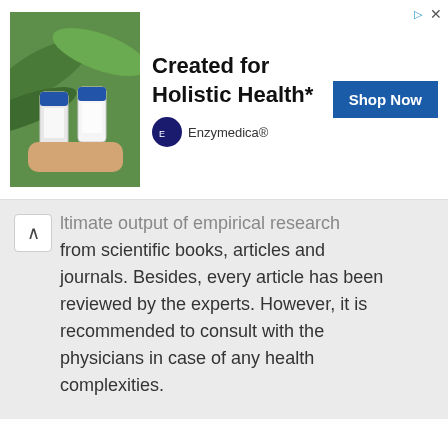[Figure (screenshot): Advertisement banner for Enzymedica holistic health supplements. Shows product bottles held in front of tropical plants, with bold text 'Created for Holistic Health*', a 'Shop Now' button, and Enzymedica brand logo.]
ltimate output of empirical research from scientific books, articles and journals. Besides, every article has been reviewed by the experts. However, it is recommended to consult with the physicians in case of any health complexities.
Footnotes
1. AgBioForum, 5(2) 2002: 59-64. http://hdl.handle.net/10355/309
2. AgBioForum, 5(2) 2002: 59-64.